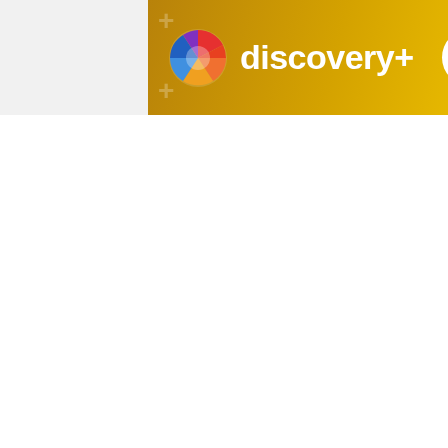[Figure (logo): Discovery+ advertisement banner with golden/yellow gradient background, Discovery+ logo (colorful circle icon and white 'discovery+' text), and a 'stream now' button. Terms apply text underneath the button.]
characteristic. In human terms, not gl your family… if your family is made up c
But thanks to this recent work from D pocket glands bioluminesce, these tw Whereas the first discovered pocket s of Chile, our new shark friend swims a opposite side of the America continen
The species locale is also the inspirati names (akin to your legal name, then shark species, it was named in honor